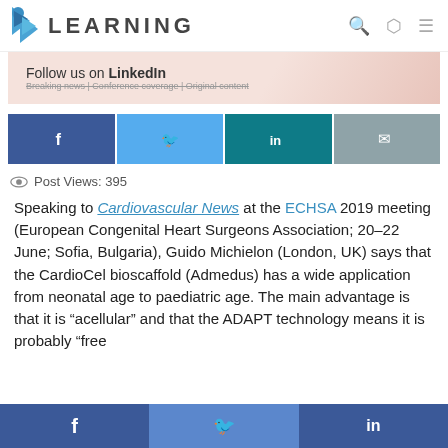LEARNING
[Figure (other): LinkedIn follow us advertisement banner]
[Figure (infographic): Social share buttons: Facebook, Twitter, LinkedIn, Email]
Post Views: 395
Speaking to Cardiovascular News at the ECHSA 2019 meeting (European Congenital Heart Surgeons Association; 20–22 June; Sofia, Bulgaria), Guido Michielon (London, UK) says that the CardioCel bioscaffold (Admedus) has a wide application from neonatal age to paediatric age. The main advantage is that it is “acellular” and that the ADAPT technology means it is probably “free
[Figure (infographic): Bottom share bar: Facebook, Twitter, LinkedIn]